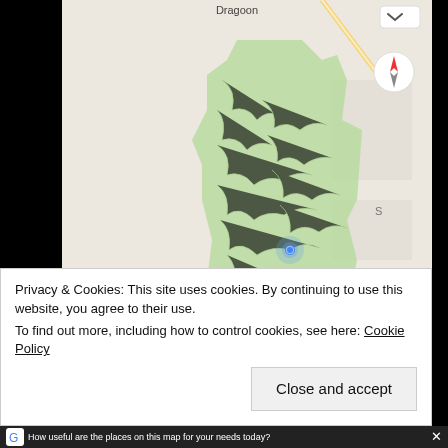[Figure (map): Google Maps screenshot showing a green shaded area (park/preserve) near Dragoon, with terrain features, a blue location dot indicator, compass button, location button, and road overlay on a beige/gray map background.]
Privacy & Cookies: This site uses cookies. By continuing to use this website, you agree to their use. To find out more, including how to control cookies, see here: Cookie Policy
Close and accept
How useful are the places on this map for your needs today?